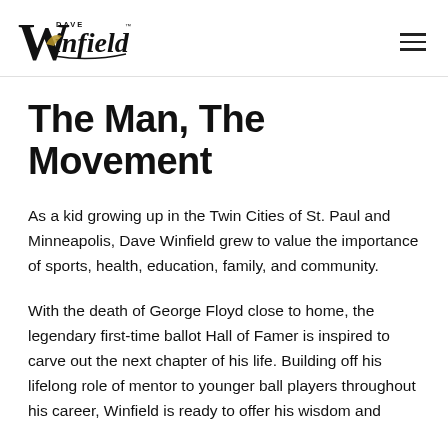Dave Winfield [logo]
The Man, The Movement
As a kid growing up in the Twin Cities of St. Paul and Minneapolis, Dave Winfield grew to value the importance of sports, health, education, family, and community.
With the death of George Floyd close to home, the legendary first-time ballot Hall of Famer is inspired to carve out the next chapter of his life. Building off his lifelong role of mentor to younger ball players throughout his career, Winfield is ready to offer his wisdom and